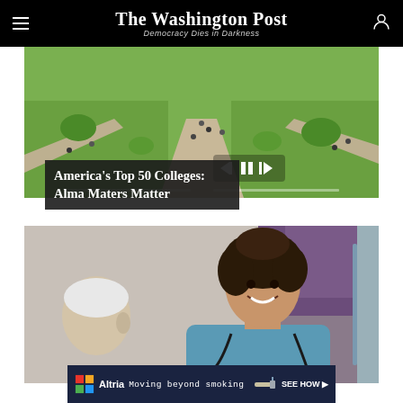The Washington Post — Democracy Dies in Darkness
[Figure (photo): Aerial/overhead view of a college campus with a central path, green lawn, and students walking and sitting outdoors]
America's Top 50 Colleges: Alma Maters Matter
[Figure (photo): A smiling young female healthcare worker or nurse wearing scrubs and a stethoscope, speaking with an elderly patient]
[Figure (other): Advertisement banner: Altria logo, text 'Altria Moving beyond smoking', with SEE HOW button]